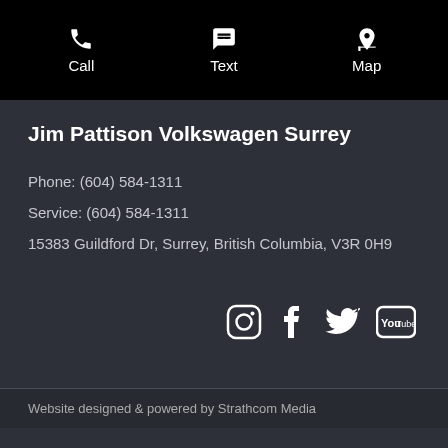[Figure (infographic): Top navigation bar with Call, Text, and Map icons on black background]
Jim Pattison Volkswagen Surrey
Phone: (604) 584-1311
Service: (604) 584-1311
15383 Guildford Dr, Surrey, British Columbia, V3R 0H9
[Figure (infographic): Social media icons row: Instagram, Facebook, Twitter, YouTube]
Website designed & powered by Strathcom Media